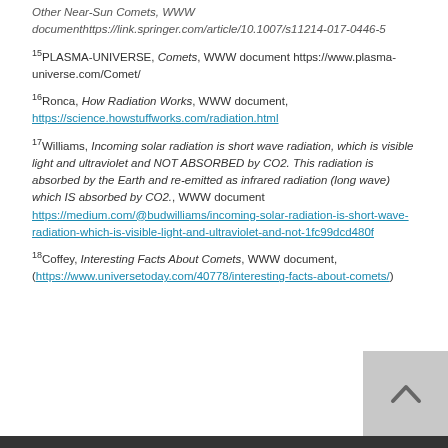Other Near-Sun Comets, WWW documenthttps://link.springer.com/article/10.1007/s11214-017-0446-5
15PLASMA-UNIVERSE, Comets, WWW document https://www.plasma-universe.com/Comet/
16Ronca, How Radiation Works, WWW document, https://science.howstuffworks.com/radiation.html
17Williams, Incoming solar radiation is short wave radiation, which is visible light and ultraviolet and NOT ABSORBED by CO2. This radiation is absorbed by the Earth and re-emitted as infrared radiation (long wave) which IS absorbed by CO2., WWW document https://medium.com/@budwilliams/incoming-solar-radiation-is-short-wave-radiation-which-is-visible-light-and-ultraviolet-and-not-1fc99dcd480f
18Coffey, Interesting Facts About Comets, WWW document, (https://www.universetoday.com/40778/interesting-facts-about-comets/)